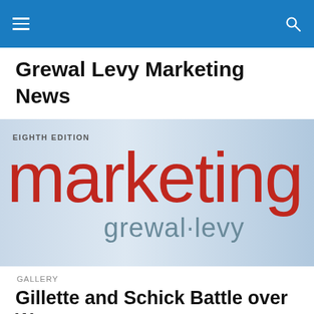Grewal Levy Marketing News
[Figure (illustration): Book cover for Marketing Eighth Edition by Grewal and Levy. Large red lowercase 'marketing' text on a light blue/grey gradient background with 'grewal·levy' in smaller grey text below, and 'EIGHTH EDITION' in small caps at the top left.]
GALLERY
Gillette and Schick Battle over Women
The first women's razors were men's razors, but in pink.